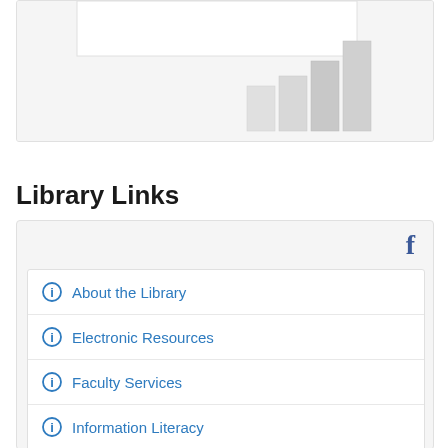[Figure (other): Partial screenshot of a bar chart with light gray bars on a light gray background, clipped at top]
</> Embed
Library Links
About the Library
Electronic Resources
Faculty Services
Information Literacy
Archives